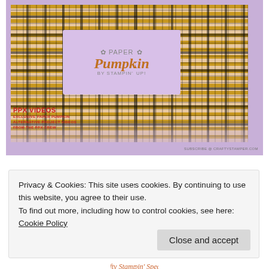[Figure (photo): Paper Pumpkin subscription box with plaid yellow/black/lavender pattern, pink label center with 'Paper Pumpkin' logo, PPX Videos badge in red bottom-left, lavender decorative elements in foreground, subscribe text bottom-right]
Privacy & Cookies: This site uses cookies. By continuing to use this website, you agree to their use.
To find out more, including how to control cookies, see here: Cookie Policy
Close and accept
Crafty Stampin' Specials